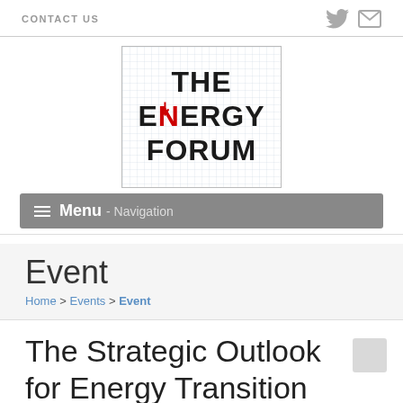CONTACT US
[Figure (logo): The Energy Forum logo — grid background with bold text THE ENERGY FORUM, red N with arrow in ENERGY]
Menu - Navigation
Event
Home > Events > Event
The Strategic Outlook for Energy Transition